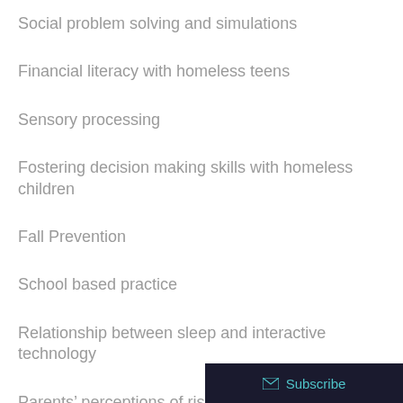Social problem solving and simulations
Financial literacy with homeless teens
Sensory processing
Fostering decision making skills with homeless children
Fall Prevention
School based practice
Relationship between sleep and interactive technology
Parents’ perceptions of risk with children’s everyday occupations